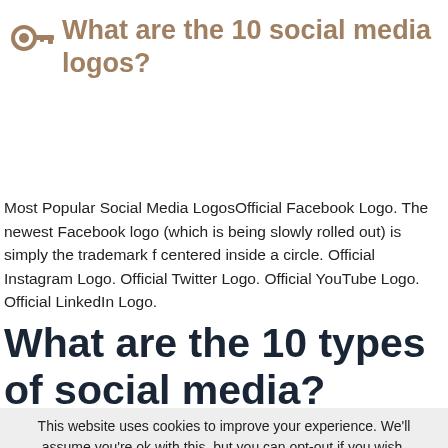What are the 10 social media logos?
Most Popular Social Media LogosOfficial Facebook Logo. The newest Facebook logo (which is being slowly rolled out) is simply the trademark f centered inside a circle. Official Instagram Logo. Official Twitter Logo. Official YouTube Logo. Official LinkedIn Logo.
What are the 10 types of social media?
This website uses cookies to improve your experience. We'll assume you're ok with this, but you can opt-out if you wish.